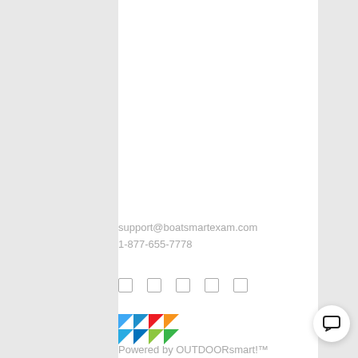support@boatsmartexam.com
1-877-655-7778
[Figure (illustration): Five small social media icon placeholders (square outlines) in a row]
[Figure (logo): OUTDOORsmart colorful geometric logo - a speech bubble shape made of colored triangles]
Powered by OUTDOORsmart!™